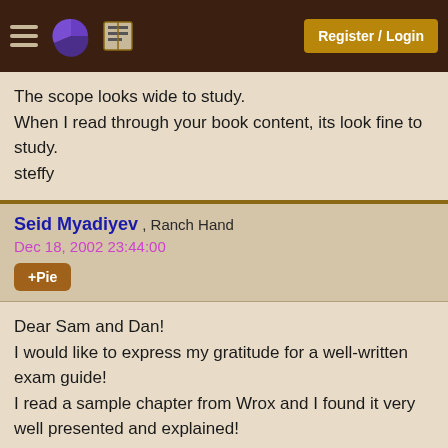Register / Login
The scope looks wide to study.
When I read through your book content, its look fine to study.
steffy
Seid Myadiyev , Ranch Hand
Dec 18, 2002 23:44:00
+Pie
Dear Sam and Dan!
I would like to express my gratitude for a well-written exam guide!
I read a sample chapter from Wrox and I found it very well presented and explained!
Thank you very much!
Seid
Vedhas Pitkar , Ranch Hand
Dec 19, 2002 01:26:00